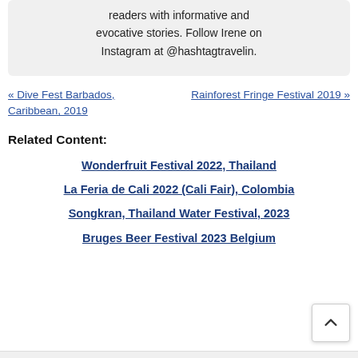readers with informative and evocative stories. Follow Irene on Instagram at @hashtagtravelin.
« Dive Fest Barbados, Caribbean, 2019
Rainforest Fringe Festival 2019 »
Related Content:
Wonderfruit Festival 2022, Thailand
La Feria de Cali 2022 (Cali Fair), Colombia
Songkran, Thailand Water Festival, 2023
Bruges Beer Festival 2023 Belgium